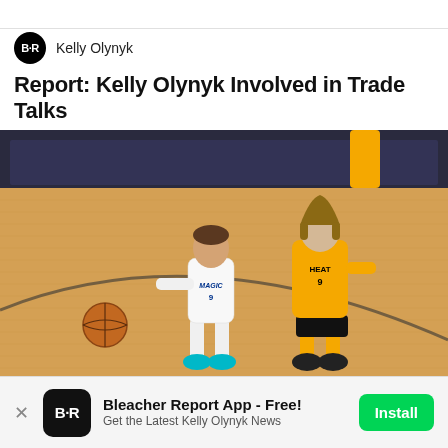Kelly Olynyk
Report: Kelly Olynyk Involved in Trade Talks
[Figure (photo): Basketball game photo showing two NBA players on a hardwood court. Player in white Orlando Magic uniform (#9) dribbling while being guarded by player in yellow Miami Heat uniform (#9, Kelly Olynyk). A basketball is visible on the floor to the left. Background shows crowd and arena.]
Bleacher Report App - Free! Get the Latest Kelly Olynyk News